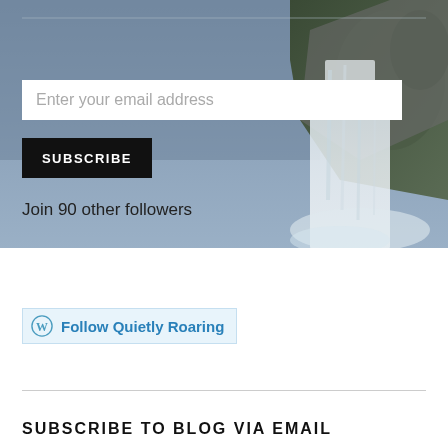[Figure (photo): Background photo of a waterfall with blue sky and green rocky cliff]
Enter your email address
SUBSCRIBE
Join 90 other followers
Follow Quietly Roaring
SUBSCRIBE TO BLOG VIA EMAIL